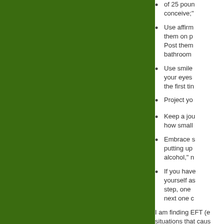of 25 pounds and intend to conceive;
Use affirmations. Write them on paper, say them. Post them on your bathroom
Use smile therapy. Close your eyes and think of the first time
Project yo
Keep a journal. No matter how small
Embrace self, putting up "no alcohol," n
If you have yourself as step, one next one c
I am finding EFT (e situations that caus